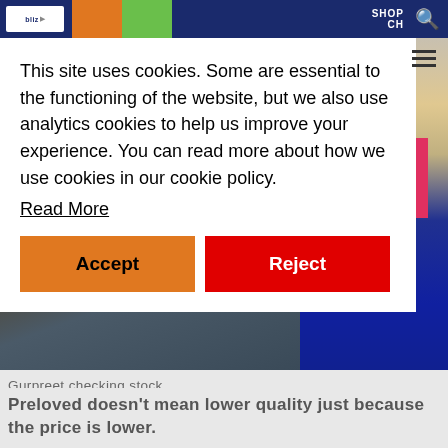SHOP | [search icon]
This site uses cookies. Some are essential to the functioning of the website, but we also use analytics cookies to help us improve your experience. You can read more about how we use cookies in our cookie policy.
Read More
Accept
Reject
[Figure (photo): Photo of Gurpreet checking stock — clothing items hanging on racks, blurred background]
Gurpreet checking stock
Preloved doesn't mean lower quality just because the price is lower.